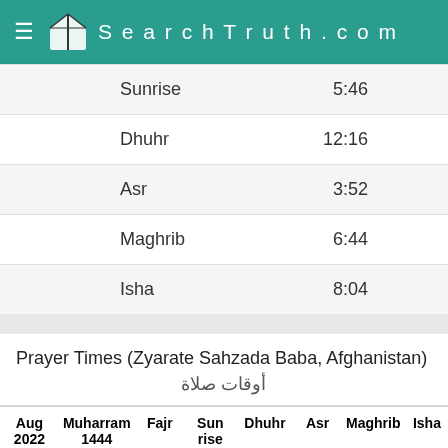SearchTruth.com
| Prayer | Time |
| --- | --- |
| Sunrise | 5:46 |
| Dhuhr | 12:16 |
| Asr | 3:52 |
| Maghrib | 6:44 |
| Isha | 8:04 |
Prayer Times (Zyarate Sahzada Baba, Afghanistan) أوقات صلاة
| Aug 2022 | Muharram 1444 | Fajr | Sun rise | Dhuhr | Asr | Maghrib | Isha |
| --- | --- | --- | --- | --- | --- | --- | --- |
| 1 | 3 | 3:58 | 5:28 | 12:21 | 4:00 | 7:12 | 8:38 |